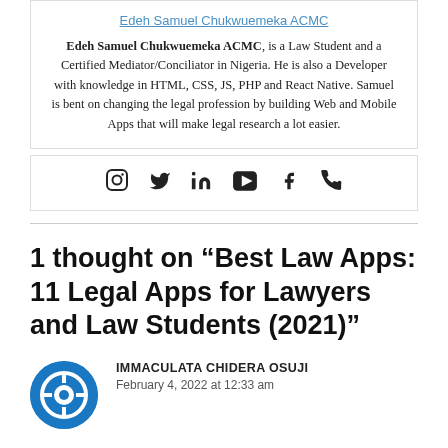Edeh Samuel Chukwuemeka ACMC (link)
Edeh Samuel Chukwuemeka ACMC, is a Law Student and a Certified Mediator/Conciliator in Nigeria. He is also a Developer with knowledge in HTML, CSS, JS, PHP and React Native. Samuel is bent on changing the legal profession by building Web and Mobile Apps that will make legal research a lot easier.
[Figure (infographic): Social media icons: Instagram, Twitter, LinkedIn, YouTube, Facebook, Phone]
1 thought on “Best Law Apps: 11 Legal Apps for Lawyers and Law Students (2021)”
IMMACULATA CHIDERA OSUJI
February 4, 2022 at 12:33 am